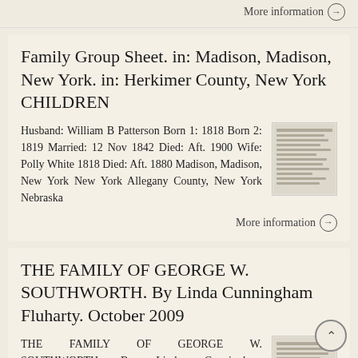More information →
Family Group Sheet. in: Madison, Madison, New York. in: Herkimer County, New York CHILDREN
Husband: William B Patterson Born 1: 1818 Born 2: 1819 Married: 12 Nov 1842 Died: Aft. 1900 Wife: Polly White 1818 Died: Aft. 1880 Madison, Madison, New York New York Allegany County, New York Nebraska
More information →
THE FAMILY OF GEORGE W. SOUTHWORTH. By Linda Cunningham Fluharty. October 2009
THE FAMILY OF GEORGE W. SOUTHWORTH By Linda Cunningham Fluharty. October 2009 George Washington